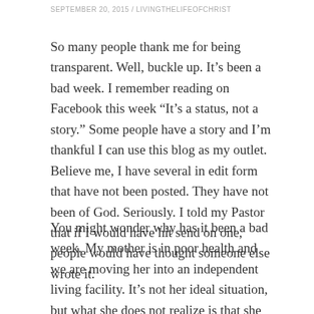SEPTEMBER 20, 2015 / LIVINGTHELIFEOFCHRIST
So many people thank me for being transparent. Well, buckle up. It’s been a bad week. I remember reading on Facebook this week “It’s a status, not a story.” Some people have a story and I’m thankful I can use this blog as my outlet. Believe me, I have several in edit form that have not been posted. They have not been of God. Seriously. I told my Pastor that if I would have hit send on one, people would have thought someone else wrote it.
You might wonder why has it been a bad week. My mother is in poor health and we are moving her into an independent living facility. It’s not her ideal situation, but what she does not realize is that she will be well taken care of, meet so many new friends, and I believe